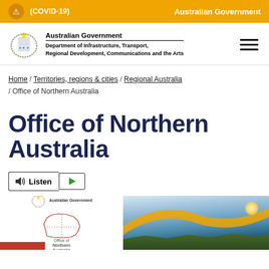(COVID-19)  Australian Government
[Figure (logo): Australian Government coat of arms with Department of Infrastructure, Transport, Regional Development, Communications and the Arts wordmark]
Home / Territories, regions & cities / Regional Australia / Office of Northern Australia
Office of Northern Australia
[Figure (other): Listen and play audio buttons]
[Figure (photo): Australian Government and Office of Northern Australia logos with a landscape photo showing a sunset over Northern Australia terrain with yellow and blue gradient swoosh]